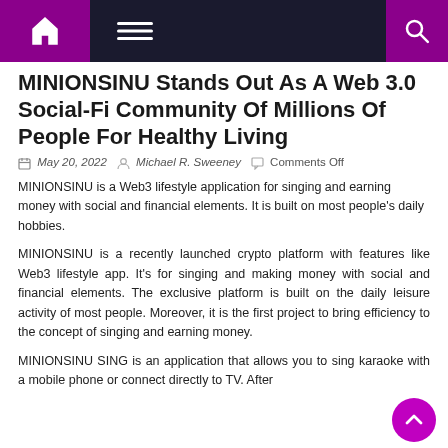Navigation bar with home, menu, and search icons
MINIONSINU Stands Out As A Web 3.0 Social-Fi Community Of Millions Of People For Healthy Living
May 20, 2022   Michael R. Sweeney   Comments Off
MINIONSINU is a Web3 lifestyle application for singing and earning money with social and financial elements. It is built on most people's daily hobbies.
MINIONSINU is a recently launched crypto platform with features like Web3 lifestyle app. It's for singing and making money with social and financial elements. The exclusive platform is built on the daily leisure activity of most people. Moreover, it is the first project to bring efficiency to the concept of singing and earning money.
MINIONSINU SING is an application that allows you to sing karaoke with a mobile phone or connect directly to TV. After